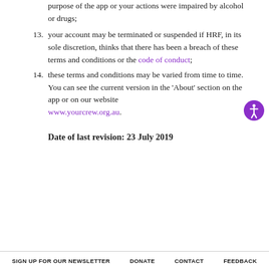purpose of the app or your actions were impaired by alcohol or drugs;
13. your account may be terminated or suspended if HRF, in its sole discretion, thinks that there has been a breach of these terms and conditions or the code of conduct;
14. these terms and conditions may be varied from time to time. You can see the current version in the 'About' section on the app or on our website www.yourcrew.org.au.
Date of last revision:  23 July 2019
SIGN UP FOR OUR NEWSLETTER   DONATE   CONTACT   FEEDBACK